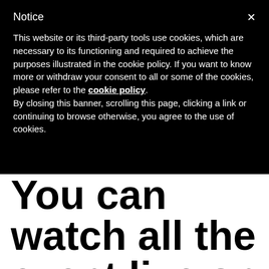Notice
This website or its third-party tools use cookies, which are necessary to its functioning and required to achieve the purposes illustrated in the cookie policy. If you want to know more or withdraw your consent to all or some of the cookies, please refer to the cookie policy. By closing this banner, scrolling this page, clicking a link or continuing to browse otherwise, you agree to the use of cookies.
You can watch all the event live on EUBC Youtube Official Channel (CLICK HERE) and Follow